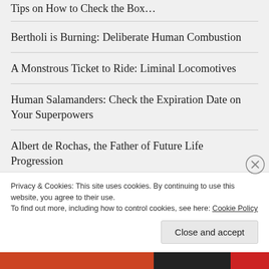Bertholi is Burning: Deliberate Human Combustion
A Monstrous Ticket to Ride: Liminal Locomotives
Human Salamanders: Check the Expiration Date on Your Superpowers
Albert de Rochas, the Father of Future Life Progression
The Phantom Black Dogs of Wheal Vor Mine
Gardening with the Devil
Advertisements
Privacy & Cookies: This site uses cookies. By continuing to use this website, you agree to their use.
To find out more, including how to control cookies, see here: Cookie Policy
Close and accept